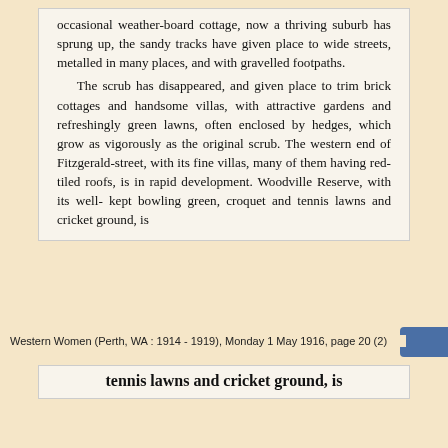occasional weather-board cottage, now a thriving suburb has sprung up, the sandy tracks have given place to wide streets, metalled in many places, and with gravelled footpaths.

The scrub has disappeared, and given place to trim brick cottages and handsome villas, with attractive gardens and refreshingly green lawns, often enclosed by hedges, which grow as vigorously as the original scrub. The western end of Fitzgerald-street, with its fine villas, many of them having red-tiled roofs, is in rapid development. Woodville Reserve, with its well-kept bowling green, croquet and tennis lawns and cricket ground, is
Western Women (Perth, WA : 1914 - 1919), Monday 1 May 1916, page 20 (2)
tennis lawns and cricket ground, is